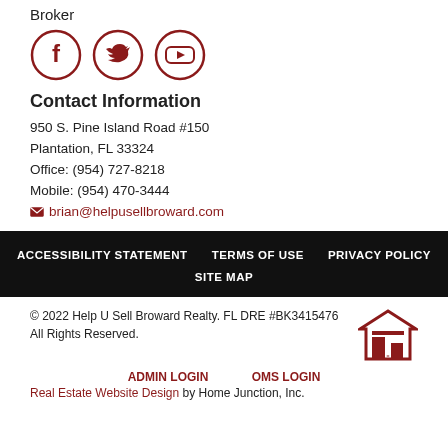Broker
[Figure (illustration): Three circular social media icons with dark red borders: Facebook (f), Twitter (bird), YouTube (play button in rectangle)]
Contact Information
950 S. Pine Island Road #150
Plantation, FL 33324
Office: (954) 727-8218
Mobile: (954) 470-3444
brian@helpusellbroward.com
ACCESSIBILITY STATEMENT   TERMS OF USE   PRIVACY POLICY   SITE MAP
© 2022 Help U Sell Broward Realty. FL DRE #BK3415476 All Rights Reserved.
ADMIN LOGIN   OMS LOGIN
Real Estate Website Design by Home Junction, Inc.